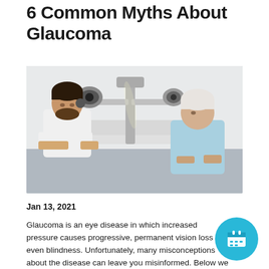6 Common Myths About Glaucoma
[Figure (photo): An ophthalmologist in a white coat examines an elderly female patient using a slit lamp biomicroscope in a clinical setting.]
Jan 13, 2021
Glaucoma is an eye disease in which increased pressure causes progressive, permanent vision loss and even blindness. Unfortunately, many misconceptions about the disease can leave you misinformed. Below we sort fact from